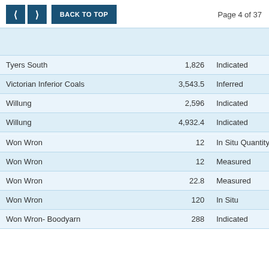Page 4 of 37
|  |  |  |
| --- | --- | --- |
| Tyers South | 1,826 | Indicated |
| Victorian Inferior Coals | 3,543.5 | Inferred |
| Willung | 2,596 | Indicated |
| Willung | 4,932.4 | Indicated |
| Won Wron | 12 | In Situ Quantity (Mt) |
| Won Wron | 12 | Measured |
| Won Wron | 22.8 | Measured |
| Won Wron | 120 | In Situ |
| Won Wron- Boodyarn | 288 | Indicated |